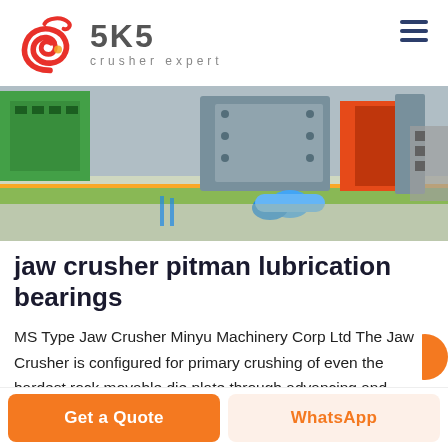[Figure (logo): SKS crusher expert logo with red swirl graphic and grey SKS text]
[Figure (photo): Industrial jaw crusher machine on factory floor showing metal frame, green conveyor belt, and blue pipes]
jaw crusher pitman lubrication bearings
MS Type Jaw Crusher Minyu Machinery Corp Ltd The Jaw Crusher is configured for primary crushing of even the hardest rock movable die plate through advancing and retreating motions of the jaw